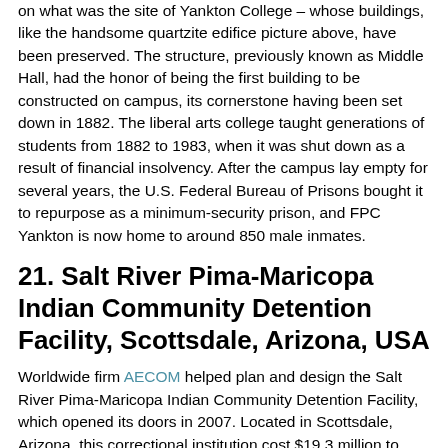on what was the site of Yankton College – whose buildings, like the handsome quartzite edifice picture above, have been preserved. The structure, previously known as Middle Hall, had the honor of being the first building to be constructed on campus, its cornerstone having been set down in 1882. The liberal arts college taught generations of students from 1882 to 1983, when it was shut down as a result of financial insolvency. After the campus lay empty for several years, the U.S. Federal Bureau of Prisons bought it to repurpose as a minimum-security prison, and FPC Yankton is now home to around 850 male inmates.
21. Salt River Pima-Maricopa Indian Community Detention Facility, Scottsdale, Arizona, USA
Worldwide firm AECOM helped plan and design the Salt River Pima-Maricopa Indian Community Detention Facility, which opened its doors in 2007. Located in Scottsdale, Arizona, this correctional institution cost $19.3 million to build and houses male and female adults as well as juvenile inmates. The facility is intended to represent the time-honoured values of the Native American community and, through its design, takes inspiration from the surrounding geography. Its light and dark masonry hints at the stratification of the banks of the Salt River, while the roofs are shaped to evoke mesas, and the green color of the windows are a nod to the hues found in the local landscape.